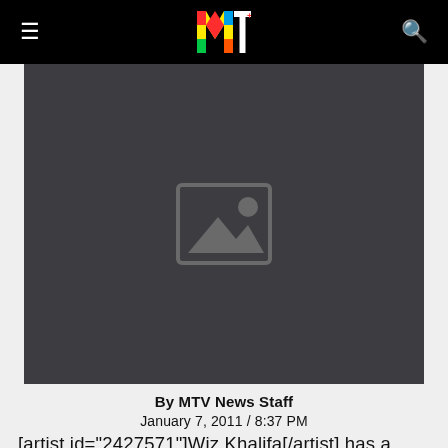MTV
[Figure (photo): Placeholder image area with a generic image icon (mountain/landscape placeholder) on a dark gray background]
By MTV News Staff
January 7, 2011 / 8:37 PM
[artist id="2427571"]Wiz Khalifa[/artist] has a warning